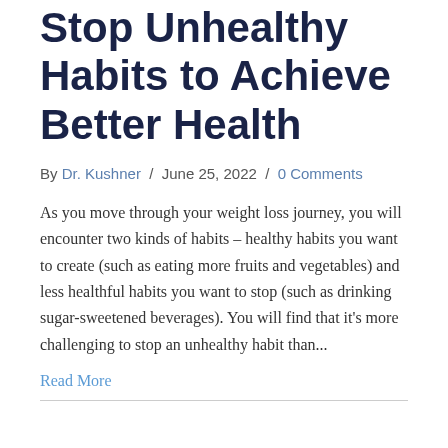Stop Unhealthy Habits to Achieve Better Health
By Dr. Kushner / June 25, 2022 / 0 Comments
As you move through your weight loss journey, you will encounter two kinds of habits – healthy habits you want to create (such as eating more fruits and vegetables) and less healthful habits you want to stop (such as drinking sugar-sweetened beverages). You will find that it's more challenging to stop an unhealthy habit than...
Read More